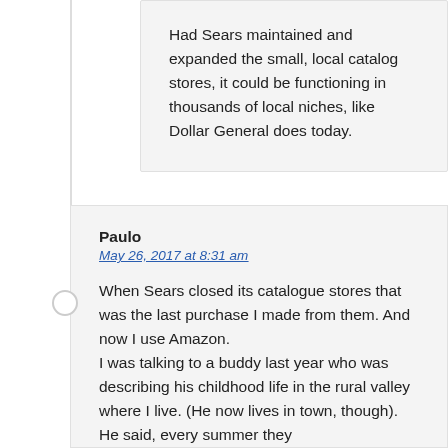Had Sears maintained and expanded the small, local catalog stores, it could be functioning in thousands of local niches, like Dollar General does today.
Paulo
May 26, 2017 at 8:31 am
When Sears closed its catalogue stores that was the last purchase I made from them. And now I use Amazon.
I was talking to a buddy last year who was describing his childhood life in the rural valley where I live. (He now lives in town, though). He said, every summer they